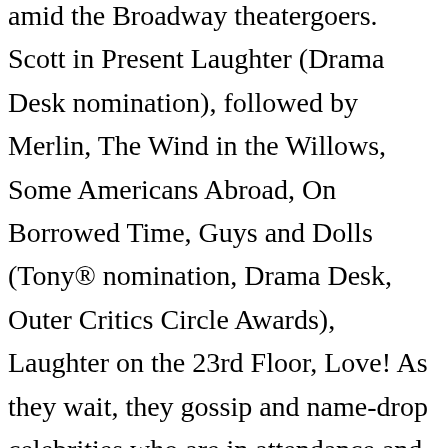amid the Broadway theatergoers. Scott in Present Laughter (Drama Desk nomination), followed by Merlin, The Wind in the Willows, Some Americans Abroad, On Borrowed Time, Guys and Dolls (Tony® nomination, Drama Desk, Outer Critics Circle Awards), Laughter on the 23rd Floor, Love! As they wait, they gossip and name-drop celebrities who are in attendance and chat about their respective theater experiences. RUPERT GRINT (Frank Finger). The only real event in Mr. McNally's comedy, aside from a reported attack on Arlene Francis by the producer's